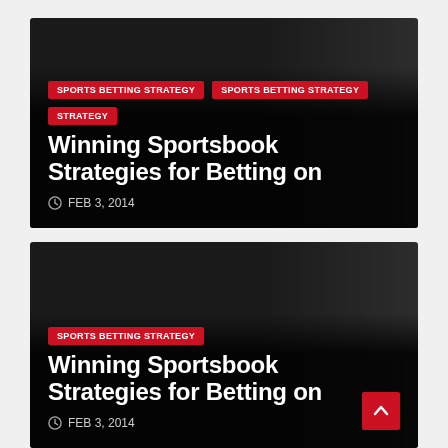[Figure (screenshot): Dark card with two category tags 'SPORTS BETTING STRATEGY' and 'SPORTS BETTING STRATEGY', a strategy tag, article title 'Winning Sportsbook Strategies for Betting on', and date 'FEB 3, 2014']
[Figure (screenshot): Dark card with category tag 'SPORTS BETTING STRATEGY', article title 'Winning Sportsbook Strategies for Betting on', date 'FEB 3, 2014', and a red back-to-top button]